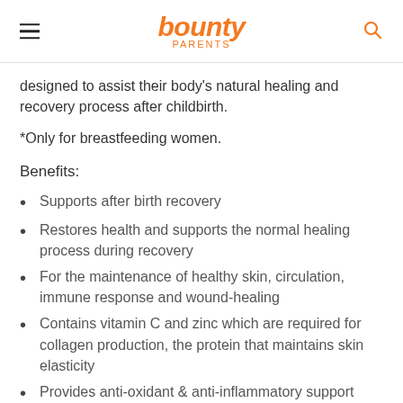bounty PARENTS
designed to assist their body's natural healing and recovery process after childbirth.
*Only for breastfeeding women.
Benefits:
Supports after birth recovery
Restores health and supports the normal healing process during recovery
For the maintenance of healthy skin, circulation, immune response and wound-healing
Contains vitamin C and zinc which are required for collagen production, the protein that maintains skin elasticity
Provides anti-oxidant & anti-inflammatory support